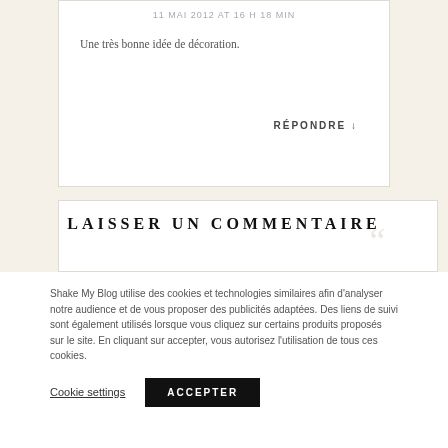11 MAI 2012 AT 16 H 18 MIN
Une très bonne idée de décoration.
RÉPONDRE ↓
LAISSER UN COMMENTAIRE
COMMENTAIRE *
Shake My Blog utilise des cookies et technologies similaires afin d'analyser notre audience et de vous proposer des publicités adaptées. Des liens de suivi sont également utilisés lorsque vous cliquez sur certains produits proposés sur le site. En cliquant sur accepter, vous autorisez l'utilisation de tous ces cookies.
Cookie settings
ACCEPTER